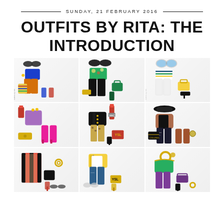SUNDAY, 21 FEBRUARY 2016
OUTFITS BY RITA: THE INTRODUCTION
[Figure (photo): 3x3 grid of fashion outfit collages featuring various styled looks including colorful clothing, shoes, bags and accessories. Row 1: blue top with orange pants and striped bag; green floral top with black wide-leg pants and green bag; striped sweater with white pants and yellow bag. Row 2: purple sheer outfit with magenta boots; black leather jacket with leopard print and red YSL bag; fur vest with black hat and brown boots. Row 3: red fur coat with black bag and red heels; yellow jacket with jeans and YSL bag; green top with purple pants and purple clutch.]